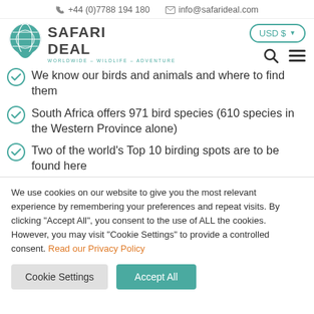+44 (0)7788 194 180   info@safarideal.com
[Figure (logo): Safari Deal logo with globe icon and teal color scheme. Text: SAFARI DEAL. Tagline: WORLDWIDE - WILDLIFE - ADVENTURE]
We know our birds and animals and where to find them
South Africa offers 971 bird species (610 species in the Western Province alone)
Two of the world's Top 10 birding spots are to be found here
We use cookies on our website to give you the most relevant experience by remembering your preferences and repeat visits. By clicking "Accept All", you consent to the use of ALL the cookies. However, you may visit "Cookie Settings" to provide a controlled consent. Read our Privacy Policy